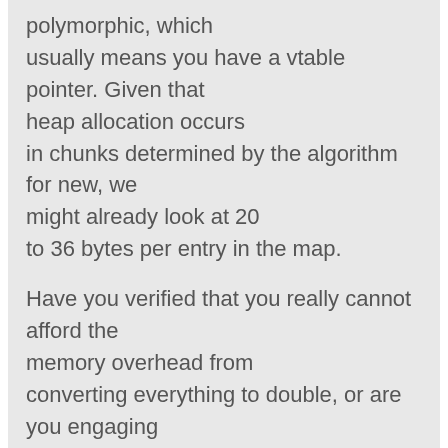polymorphic, which usually means you have a vtable pointer. Given that heap allocation occurs in chunks determined by the algorithm for new, we might already look at 20 to 36 bytes per entry in the map.

Have you verified that you really cannot afford the memory overhead from converting everything to double, or are you engaging in premature optimization?
Best

Kai-Uwe Bux
Yes, I'm trying to write the code as optimal as possible from the